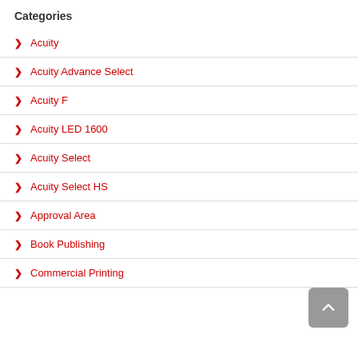Categories
Acuity
Acuity Advance Select
Acuity F
Acuity LED 1600
Acuity Select
Acuity Select HS
Approval Area
Book Publishing
Commercial Printing